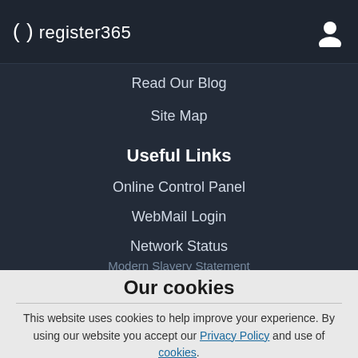( ) register365
Read Our Blog
Site Map
Useful Links
Online Control Panel
WebMail Login
Network Status
Terms & Conditions
Modern Slavery Statement
Our cookies
Create Account
Set up a Register365.com account
and get access to a hub of resources and special offers.
This website uses cookies to help improve your experience. By using our website you accept our Privacy Policy and use of cookies.